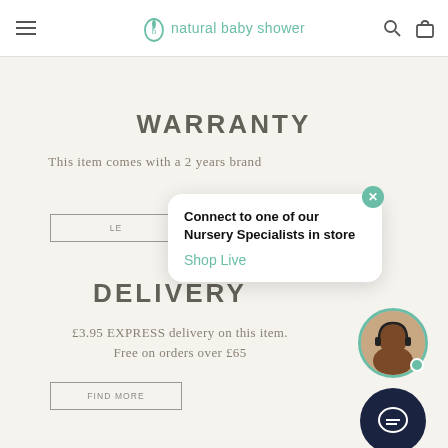[Figure (screenshot): Natural Baby Shower website header with hamburger menu, logo with leaf icon, search icon, and bag icon]
WARRANTY
This item comes with a 2 years brand
LE
DELIVERY
£3.95 EXPRESS delivery on this item.
Free on orders over £65
[Figure (screenshot): Live chat popup: Connect to one of our Nursery Specialists in store. Shop Live link. Avatar of a woman with headset.]